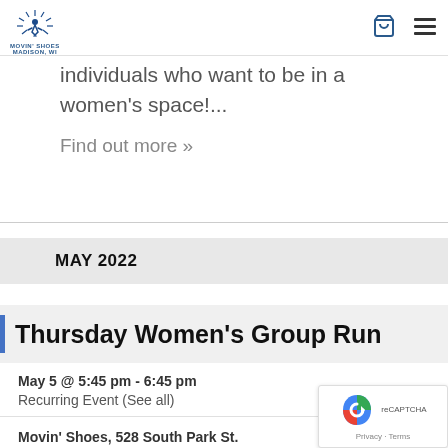Movin' Shoes [logo] [basket icon] [menu icon]
individuals who want to be in a women's space!...
Find out more »
MAY 2022
Thursday Women's Group Run
May 5 @ 5:45 pm - 6:45 pm
Recurring Event (See all)
Movin' Shoes, 528 South Park St.
Madison, WI 53715 United Sta...